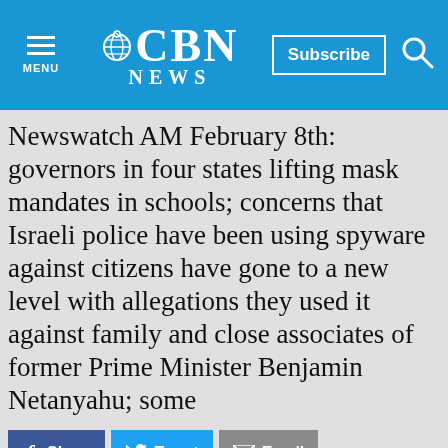CBN NEWS
Newswatch AM February 8th: governors in four states lifting mask mandates in schools; concerns that Israeli police have been using spyware against citizens have gone to a new level with allegations they used it against family and close associates of former Prime Minister Benjamin Netanyahu; some
Share | Tweet | Email
NEWS CLIPS | SHOWS
24/7 NEWS CHANNEL